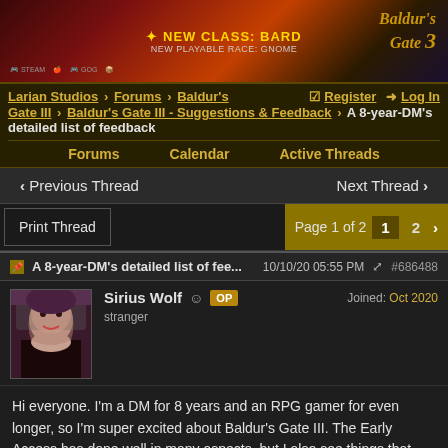[Figure (photo): Baldur's Gate III promotional banner with 'NEW CLASS: BARD - NEW PLAYABLE RACE: GNOME' text and game logo]
Larian Studios > Forums > Baldur's Gate III > Baldur's Gate III - Suggestions & Feedback > A 8-year-DM's detailed list of feedback | Register | Log In
Forums  Calendar  Active Threads
< Previous Thread    Next Thread >
Print Thread    Page 1 of 2  1  2  >
A 8-year-DM's detailed list of fee...  10/10/20 05:55 PM  #686488
Sirius Wolf  OP  stranger  Joined: Oct 2020
Hi everyone. I'm a DM for 8 years and an RPG gamer for even longer, so I'm super excited about Baldur's Gate III. The Early Access has done well in many aspects, but I also see things that has room for improvement, so here's a long list of feedback. Currently my playtime is around 30 hrs (not in one playthrough) and I expect playing much more, so I'll probably throw in more feedback from time to time.

Spoilers alert (of course).